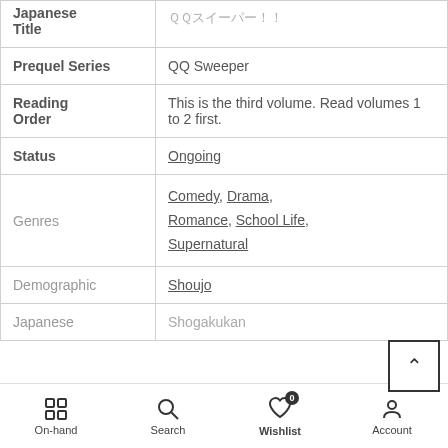| Field | Value |
| --- | --- |
| Japanese Title | ＱＱスイーパー！！ |
| Prequel Series | QQ Sweeper |
| Reading Order | This is the third volume. Read volumes 1 to 2 first. |
| Status | Ongoing |
| Genres | Comedy, Drama, Romance, School Life, Supernatural |
| Demographic | Shoujo |
| Japanese | Shogakukan |
On-hand  Search  Wishlist 0  Account